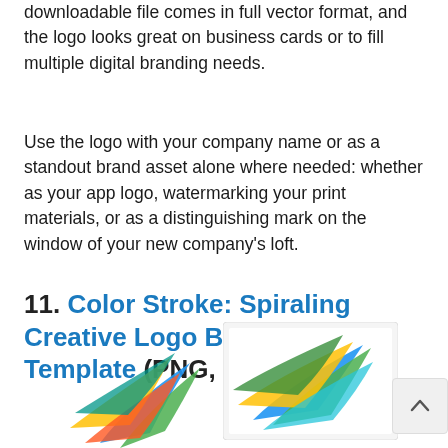downloadable file comes in full vector format, and the logo looks great on business cards or to fill multiple digital branding needs.
Use the logo with your company name or as a standout brand asset alone where needed: whether as your app logo, watermarking your print materials, or as a distinguishing mark on the window of your new company's loft.
11. Color Stroke: Spiraling Creative Logo Branding Template (PNG, JPG, EPS, AI)
[Figure (illustration): Two colorful spiral/stroke logo illustrations at the bottom of the page — one partial view on the left and one displayed on a card on the right. Both feature colorful ribbon/stroke designs in blue, green, yellow, red, and orange.]